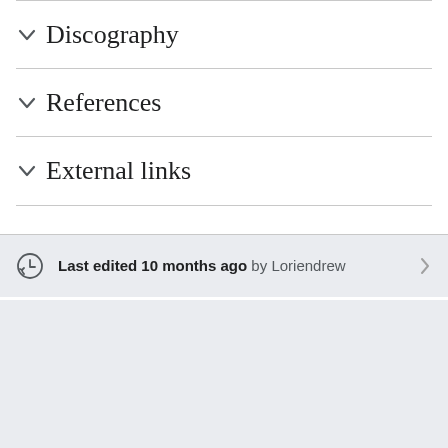Discography
References
External links
Last edited 10 months ago by Loriendrew